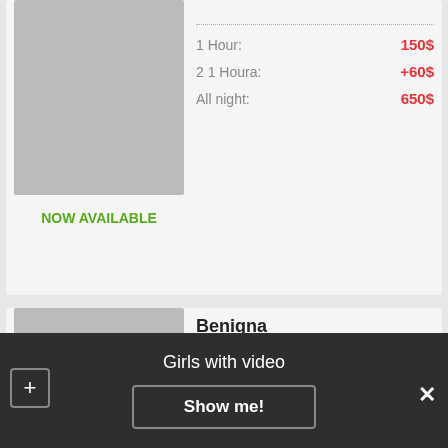[Figure (photo): Woman with dark hair sitting near white furniture, partial view]
NOW AVAILABLE
1 Hour: 150$
2 1 Houra: +60$
All night: 650$
Benigna
[Figure (photo): Young woman in pink outfit posing outdoors]
Age: 25
Height: 175
Weight: 49
Bust: C
1 Hour: 60$
Два 1 Houra: +90$
Overnight: 350$
Girls with video
Show me!